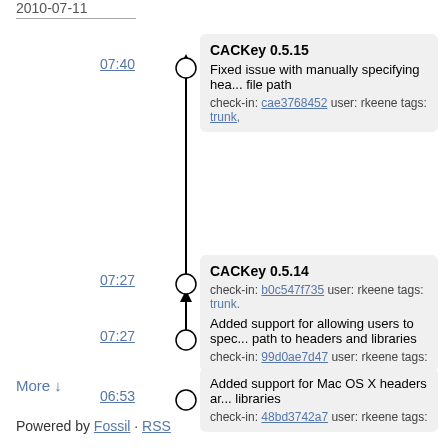2010-07-11
07:40
CACKey 0.5.15
Fixed issue with manually specifying hea... file path
check-in: cae3768452 user: rkeene tags: trunk,
07:27
CACKey 0.5.14
check-in: b0c547f735 user: rkeene tags: trunk,
07:27
Added support for allowing users to spec... path to headers and libraries
check-in: 99d0ae7d47 user: rkeene tags:
06:53
Added support for Mac OS X headers ar... libraries
check-in: 48bd3742a7 user: rkeene tags:
More ↓
Powered by Fossil · RSS